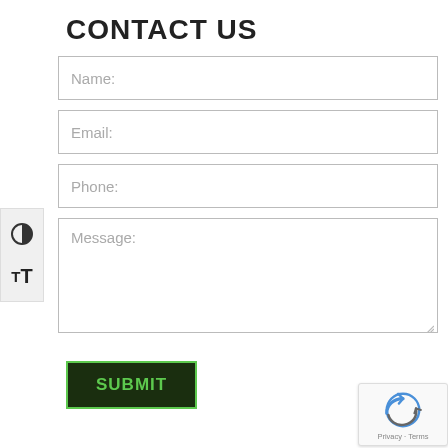CONTACT US
Name:
Email:
Phone:
Message:
SUBMIT
Privacy · Terms